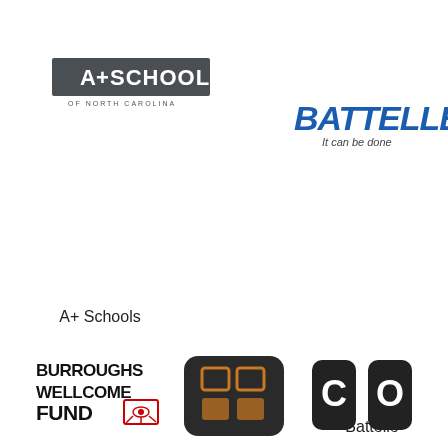[Figure (logo): A+ Schools of North Carolina logo — dark grey rectangle with A+SCHOOLS text and OF NORTH CAROLINA below]
[Figure (logo): Battelle logo — blue bold italic BATTELLE text with 'It can be done' tagline below]
[Figure (logo): Belk Foundation logo — teal bracket B icon with BELK FOUNDATION text]
A+ Schools
Battelle
Belk Foundation
[Figure (logo): Burroughs Wellcome Fund logo — bold black stacked text with red Eye of Horus symbol]
[Figure (logo): Dark square logo with orange/gold grid squares icon on dark background]
[Figure (logo): Dark square logo with C and O letters in white on dark rounded squares]